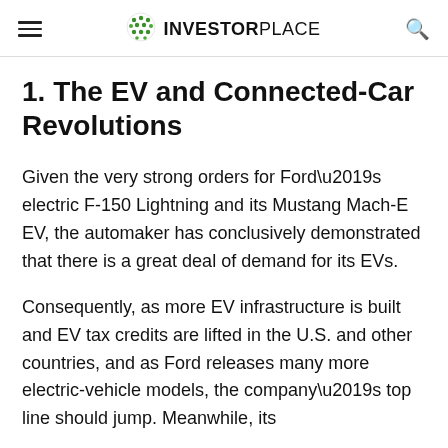INVESTORPLACE
1. The EV and Connected-Car Revolutions
Given the very strong orders for Ford’s electric F-150 Lightning and its Mustang Mach-E EV, the automaker has conclusively demonstrated that there is a great deal of demand for its EVs.
Consequently, as more EV infrastructure is built and EV tax credits are lifted in the U.S. and other countries, and as Ford releases many more electric-vehicle models, the company’s top line should jump. Meanwhile, its